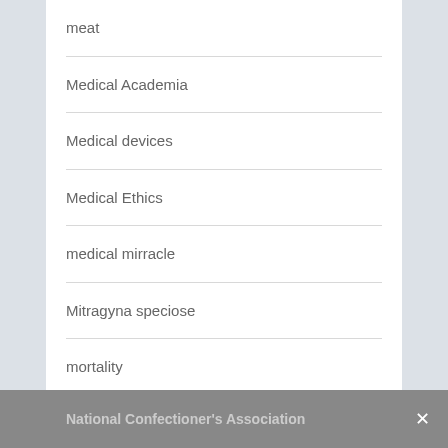meat
Medical Academia
Medical devices
Medical Ethics
medical mirracle
Mitragyna speciose
mortality
mouse models
Share This  National Confectioner's Association